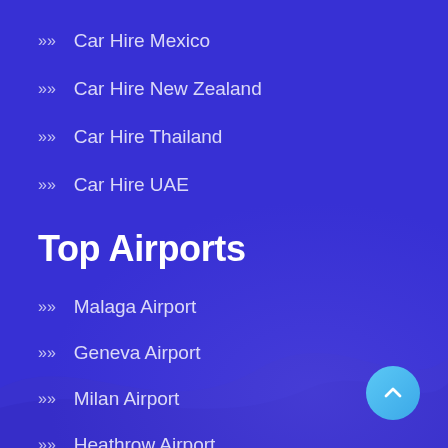Car Hire Mexico
Car Hire New Zealand
Car Hire Thailand
Car Hire UAE
Top Airports
Malaga Airport
Geneva Airport
Milan Airport
Heathrow Airport
Paris Airport